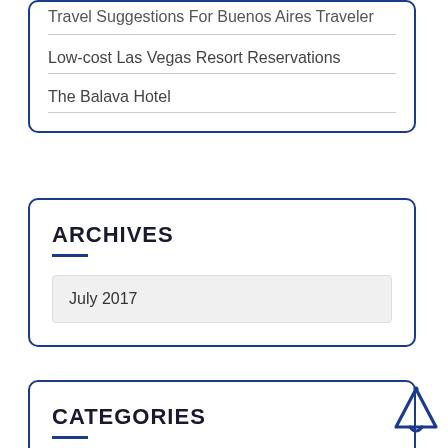Travel Suggestions For Buenos Aires Traveler
Low-cost Las Vegas Resort Reservations
The Balava Hotel
ARCHIVES
July 2017
CATEGORIES
[Figure (illustration): Blue outlined notification bell icon]